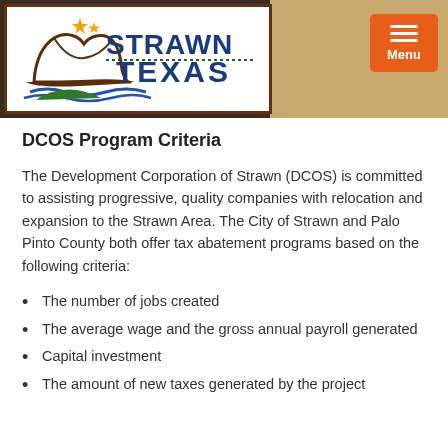[Figure (logo): Strawn Texas city logo with cowboy hat, open book, water waves, and green leaf design]
DCOS Program Criteria
The Development Corporation of Strawn (DCOS) is committed to assisting progressive, quality companies with relocation and expansion to the Strawn Area. The City of Strawn and Palo Pinto County both offer tax abatement programs based on the following criteria:
The number of jobs created
The average wage and the gross annual payroll generated
Capital investment
The amount of new taxes generated by the project